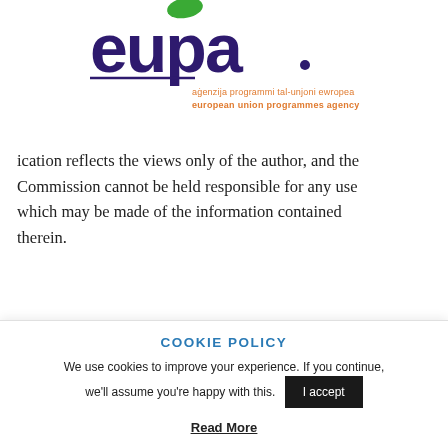[Figure (logo): EUPA - European Union Programmes Agency logo with purple wordmark and orange tagline text]
ication reflects the views only of the author, and the Commission cannot be held responsible for any use which may be made of the information contained therein.
TAGS EVS
COOKIE POLICY
We use cookies to improve your experience. If you continue, we'll assume you're happy with this.
I accept
Read More